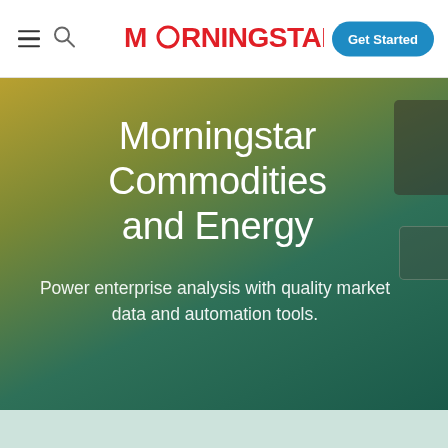MORNINGSTAR | Get Started
Morningstar Commodities and Energy
Power enterprise analysis with quality market data and automation tools.